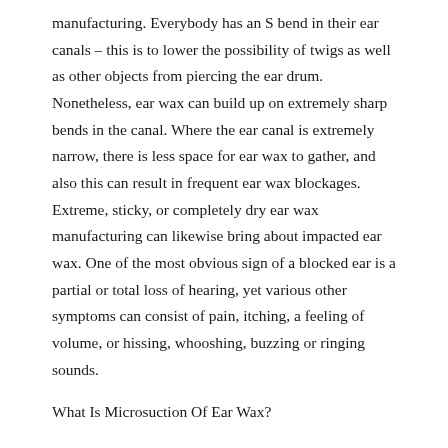manufacturing. Everybody has an S bend in their ear canals – this is to lower the possibility of twigs as well as other objects from piercing the ear drum. Nonetheless, ear wax can build up on extremely sharp bends in the canal. Where the ear canal is extremely narrow, there is less space for ear wax to gather, and also this can result in frequent ear wax blockages. Extreme, sticky, or completely dry ear wax manufacturing can likewise bring about impacted ear wax. One of the most obvious sign of a blocked ear is a partial or total loss of hearing, yet various other symptoms can consist of pain, itching, a feeling of volume, or hissing, whooshing, buzzing or ringing sounds.
What Is Microsuction Of Ear Wax?
What are the Threat and also difficulties? Micro suction